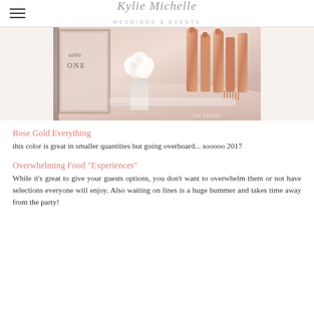Kylie Michelle Weddings & Events
[Figure (photo): A wedding table setting with a white flower vase centerpiece, a mirrored frame sign reading 'Table ONE', and rose gold copper bottle vases and cutlery on a decorated table.]
Rose Gold Everything
this color is great in smaller quantities but going overboard... sooooo 2017
Overwhelming Food "Experiences"
While it's great to give your guests options, you don't want to overwhelm them or not have selections everyone will enjoy. Also waiting on lines is a huge bummer and takes time away from the party!